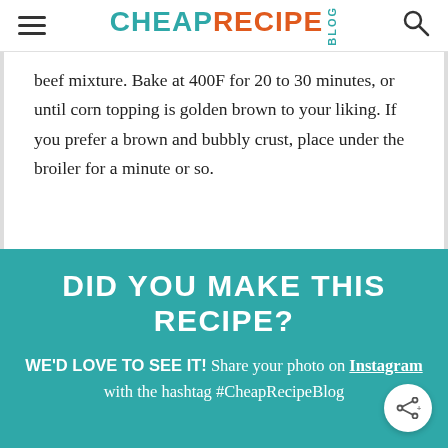CHEAP RECIPE BLOG
beef mixture. Bake at 400F for 20 to 30 minutes, or until corn topping is golden brown to your liking. If you prefer a brown and bubbly crust, place under the broiler for a minute or so.
DID YOU MAKE THIS RECIPE?
WE'D LOVE TO SEE IT! Share your photo on Instagram with the hashtag #CheapRecipeBlog